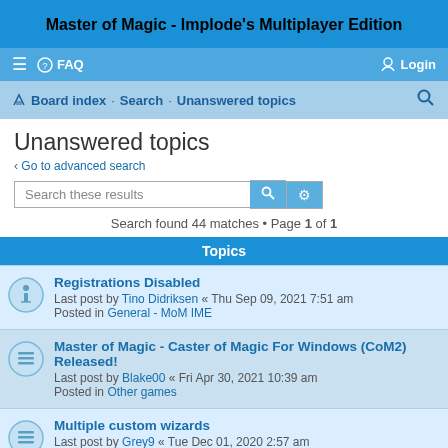Master of Magic - Implode's Multiplayer Edition
≡  FAQ   Login
Board index · Search · Unanswered topics
Unanswered topics
< Go to advanced search
Search these results
Search found 44 matches • Page 1 of 1
Topics
Registrations Disabled
Last post by Tino Didriksen « Thu Sep 09, 2021 7:51 am
Posted in General - MoM IME
Master of Magic - Caster of Magic For Windows (CoM2) Released!
Last post by Blake00 « Fri Apr 30, 2021 10:39 am
Posted in Other games
Multiple custom wizards
Last post by Grey9 « Tue Dec 01, 2020 2:57 am
Posted in General - MoM IME